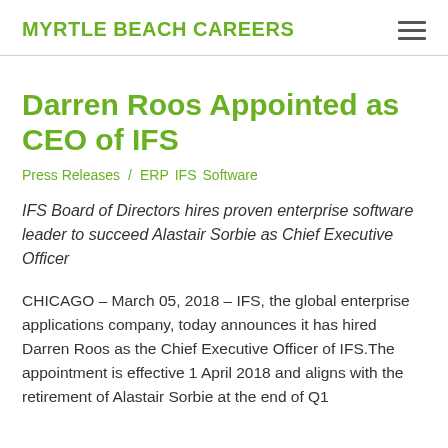MYRTLE BEACH CAREERS
Darren Roos Appointed as CEO of IFS
Press Releases / ERP IFS Software
IFS Board of Directors hires proven enterprise software leader to succeed Alastair Sorbie as Chief Executive Officer
CHICAGO – March 05, 2018 – IFS, the global enterprise applications company, today announces it has hired Darren Roos as the Chief Executive Officer of IFS.The appointment is effective 1 April 2018 and aligns with the retirement of Alastair Sorbie at the end of Q1